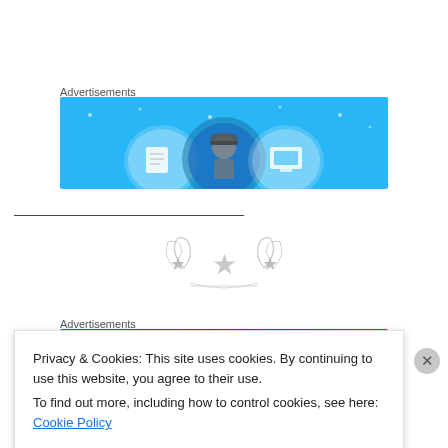Advertisements
[Figure (illustration): Advertisement banner with blue background showing three circular icon figures representing documents/filing services]
[Figure (illustration): Three-star military or award emblem in gray/silver, with laurel wreath and crossed elements]
Advertisements
[Figure (illustration): Advertisement banner with gradient from blue to purple to dark red]
Privacy & Cookies: This site uses cookies. By continuing to use this website, you agree to their use.
To find out more, including how to control cookies, see here: Cookie Policy
Close and accept